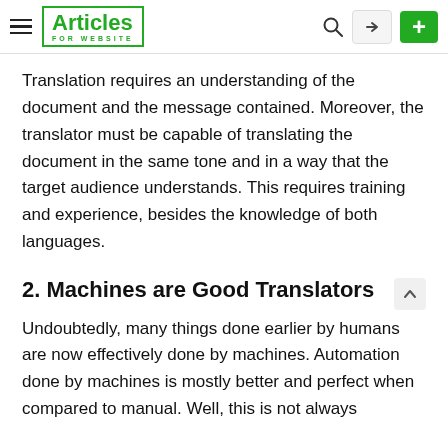Articles for Website — navigation header with logo, search, login, and add buttons
Translation requires an understanding of the document and the message contained. Moreover, the translator must be capable of translating the document in the same tone and in a way that the target audience understands. This requires training and experience, besides the knowledge of both languages.
2. Machines are Good Translators
Undoubtedly, many things done earlier by humans are now effectively done by machines. Automation done by machines is mostly better and perfect when compared to manual. Well, this is not always